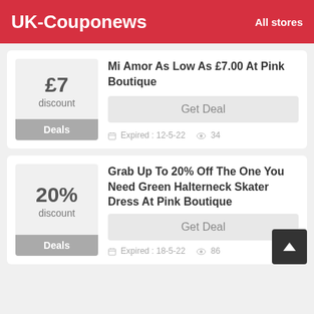UK-Couponews   All stores
£7 discount | Deals | Mi Amor As Low As £7.00 At Pink Boutique | Get Deal | Expired : 12-5-22 | 34
20% discount | Deals | Grab Up To 20% Off The One You Need Green Halterneck Skater Dress At Pink Boutique | Get Deal | Expired : 18-5-22 | 86